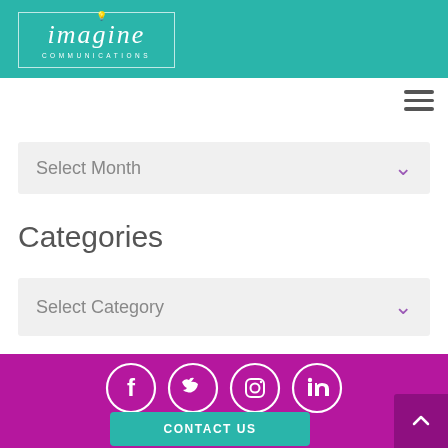[Figure (logo): Imagine Communications logo in teal header bar with white border box, italic serif font, lightbulb icon above G, and COMMUNICATIONS in small caps below]
[Figure (other): Hamburger menu icon (three horizontal lines) in top right corner]
Select Month
Categories
Select Category
[Figure (other): Social media icons in white circles on magenta/purple footer: Facebook, Twitter, Instagram, LinkedIn]
CONTACT US